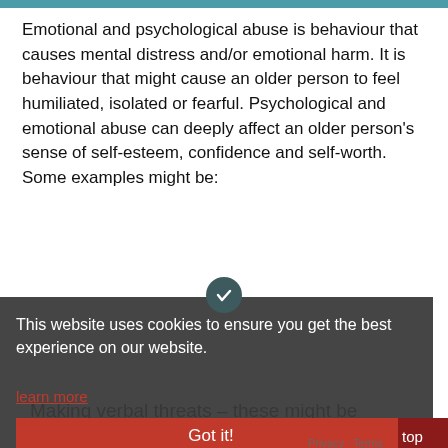Emotional and psychological abuse is behaviour that causes mental distress and/or emotional harm. It is behaviour that might cause an older person to feel humiliated, isolated or fearful. Psychological and emotional abuse can deeply affect an older person's sense of self-esteem, confidence and self-worth. Some examples might be:
[Figure (screenshot): Cookie consent banner overlay with dark gray background, check circle icon, cookie notice text, 'learn more' red link, and 'Got it!' red button. Partially overlapping page content showing 'Shaming/degrading comments.' and 'Making verbal threats – these might be directed towards the older person,']